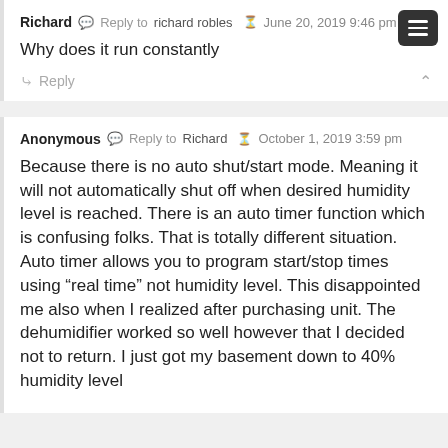Richard · Reply to richard robles · June 20, 2019 9:46 pm
Why does it run constantly
Reply
Anonymous · Reply to Richard · October 1, 2019 3:59 pm
Because there is no auto shut/start mode. Meaning it will not automatically shut off when desired humidity level is reached. There is an auto timer function which is confusing folks. That is totally different situation. Auto timer allows you to program start/stop times using "real time" not humidity level. This disappointed me also when I realized after purchasing unit. The dehumidifier worked so well however that I decided not to return. I just got my basement down to 40% humidity level